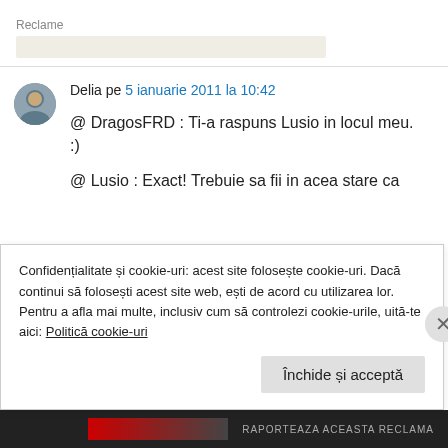Reclame
Delia pe 5 ianuarie 2011 la 10:42
@ DragosFRD : Ti-a raspuns Lusio in locul meu. :)
@ Lusio : Exact! Trebuie sa fii in acea stare ca
Confidențialitate și cookie-uri: acest site folosește cookie-uri. Dacă continui să folosești acest site web, ești de acord cu utilizarea lor. Pentru a afla mai multe, inclusiv cum să controlezi cookie-urile, uită-te aici: Politică cookie-uri
Închide și acceptă